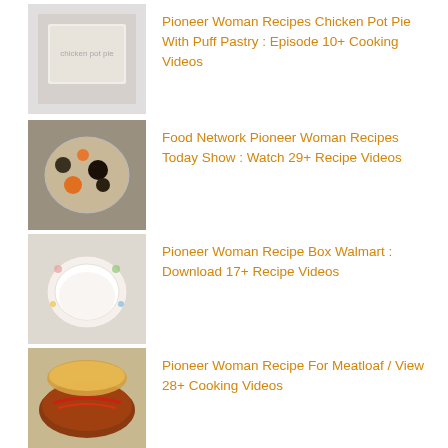Pioneer Woman Recipes Chicken Pot Pie With Puff Pastry : Episode 10+ Cooking Videos
Food Network Pioneer Woman Recipes Today Show : Watch 29+ Recipe Videos
Pioneer Woman Recipe Box Walmart : Download 17+ Recipe Videos
Pioneer Woman Recipe For Meatloaf / View 28+ Cooking Videos
Posted in Recipes    Tagged chicken, crockpot, tacos
Previous post  Pressure Cooker Blueberry Jam   |   Next post  Heart Healthy Recipes Chicken